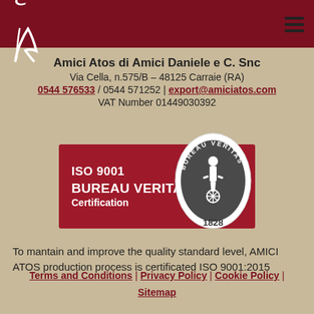Amici Atos di Amici Daniele e C. Snc — header bar with logo and hamburger menu
Amici Atos di Amici Daniele e C. Snc
Via Cella, n.575/B – 48125 Carraie (RA)
0544 576533 / 0544 571252 | export@amiciatos.com
VAT Number 01449030392
[Figure (logo): Bureau Veritas ISO 9001 Certification badge with red background showing 'ISO 9001 BUREAU VERITAS Certification' text and circular Bureau Veritas seal dated 1828]
To mantain and improve the quality standard level, AMICI ATOS production process is certificated ISO 9001:2015
Terms and Conditions | Privacy Policy | Cookie Policy | Sitemap